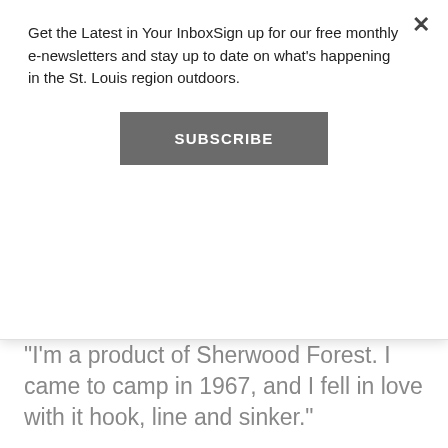Get the Latest in Your InboxSign up for our free monthly e-newsletters and stay up to date on what’s happening in the St. Louis region outdoors.
SUBSCRIBE
“I’m a product of Sherwood Forest. I came to camp in 1967, and I fell in love with it hook, line and sinker.”
As have countless campers since Sherwood Forest was founded in 1937. Every summer, third through ninth graders attend a four-week residential camp near Lesterville, Missouri. There, they canoe, hike, cook — and see stars they could never see from the city. They...